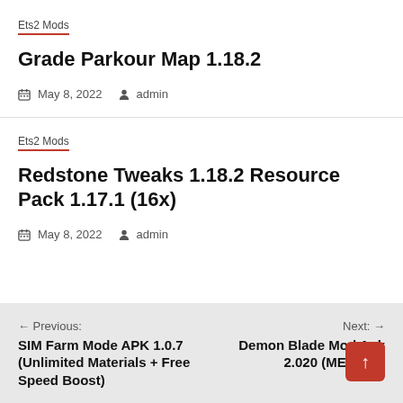Ets2 Mods
Grade Parkour Map 1.18.2
May 8, 2022  admin
Ets2 Mods
Redstone Tweaks 1.18.2 Resource Pack 1.17.1 (16x)
May 8, 2022  admin
← Previous: SIM Farm Mode APK 1.0.7 (Unlimited Materials + Free Speed Boost)   Next: → Demon Blade Mod Apk 2.020 (MENU MOD)